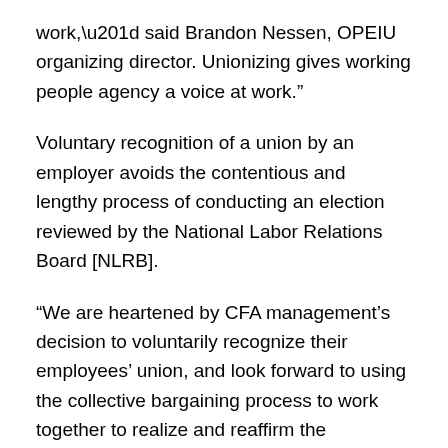work,” said Brandon Nessen, OPEIU organizing director. Unionizing gives working people agency a voice at work.”
Voluntary recognition of a union by an employer avoids the contentious and lengthy process of conducting an election reviewed by the National Labor Relations Board [NLRB].
“We are heartened by CFA management’s decision to voluntarily recognize their employees’ union, and look forward to using the collective bargaining process to work together to realize and reaffirm the organization’s core belief that those most impacted by policies should be involved in their design,” Local 1010 Tech Organizer